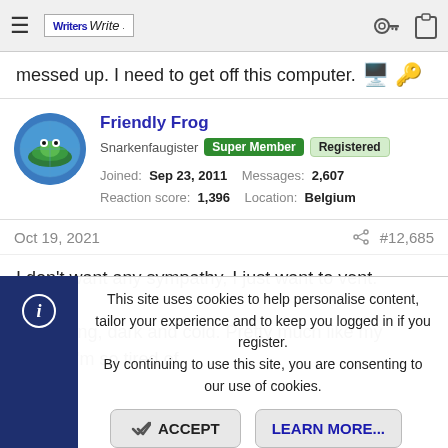WritersBeat forum navigation bar with logo and icons
messed up. I need to get off this computer. 🖥️ 🙂
Friendly Frog
Snarkenfaugister | Super Member | Registered
Joined: Sep 23, 2011   Messages: 2,607
Reaction score: 1,396   Location: Belgium
Oct 19, 2021  #12,685
I don't want any sympathy, I just want to vent.

It's raining, dark and cold. Pretty much like my mood. I'm so tired of
This site uses cookies to help personalise content, tailor your experience and to keep you logged in if you register.
By continuing to use this site, you are consenting to our use of cookies.
ACCEPT   LEARN MORE...